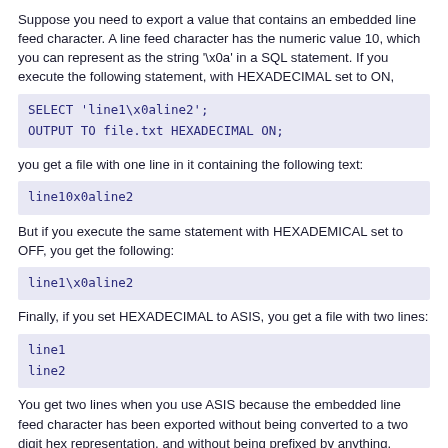Suppose you need to export a value that contains an embedded line feed character. A line feed character has the numeric value 10, which you can represent as the string '\x0a' in a SQL statement. If you execute the following statement, with HEXADECIMAL set to ON,
SELECT 'line1\x0aline2';
OUTPUT TO file.txt HEXADECIMAL ON;
you get a file with one line in it containing the following text:
line10x0aline2
But if you execute the same statement with HEXADEMICAL set to OFF, you get the following:
line1\x0aline2
Finally, if you set HEXADECIMAL to ASIS, you get a file with two lines:
line1
line2
You get two lines when you use ASIS because the embedded line feed character has been exported without being converted to a two digit hex representation, and without being prefixed by anything.